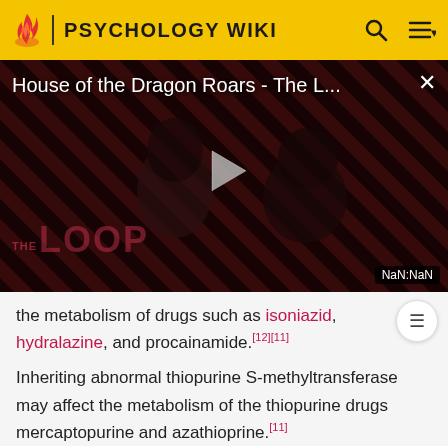PSYCHOLOGY WIKI
[Figure (screenshot): Video player showing 'House of the Dragon Roars - The L...' with a play button, diagonal stripe background, silhouette of two people, THE LOOP watermark, and a NaN:NaN timer badge.]
the metabolism of drugs such as isoniazid, hydralazine, and procainamide.[12][11]
Inheriting abnormal thiopurine S-methyltransferase may affect the metabolism of the thiopurine drugs mercaptopurine and azathioprine.[11]